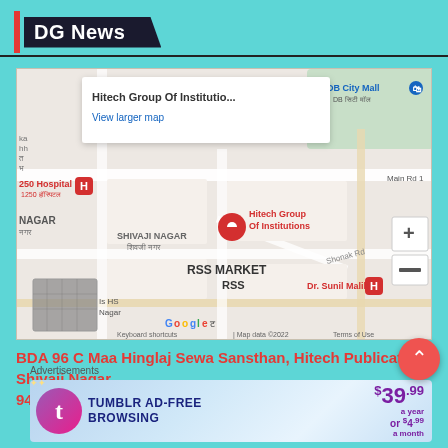DG News
[Figure (map): Google Maps screenshot showing Hitech Group Of Institutions in Shivaji Nagar area with nearby landmarks including DB City Mall, 1250 Hospital, Dr. Sunil Malik, RSS Market. Popup shows 'Hitech Group Of Institutio...' and 'View larger map'.]
BDA 96 C Maa Hinglaj Sewa Sansthan, Hitech Publication, Shivaji Nagar, 9424400606
Advertisements
[Figure (screenshot): Tumblr Ad-Free Browsing advertisement banner. Shows Tumblr logo, text 'TUMBLR AD-FREE BROWSING', price $39.99 a year or $4.99 a month.]